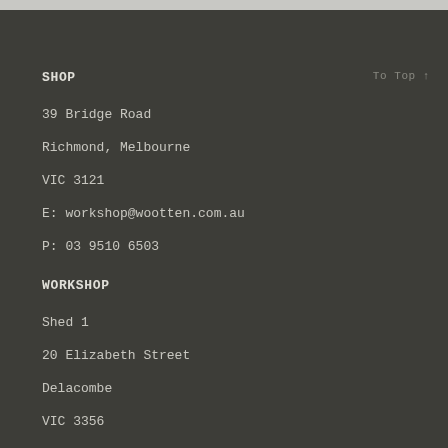SHOP
To Top ↑
39 Bridge Road
Richmond, Melbourne
VIC 3121
E: workshop@wootten.com.au
P: 03 9510 6503
WORKSHOP
Shed 1
20 Elizabeth Street
Delacombe
VIC 3356